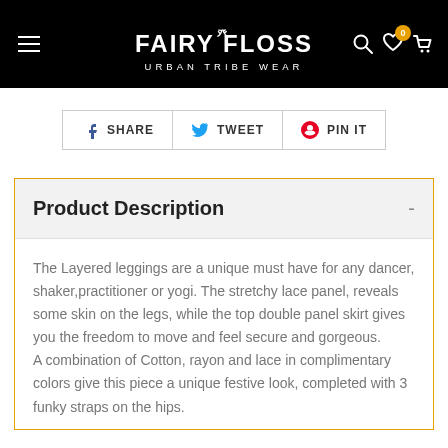FAIRY FLOSS — URBAN TRIBE WEAR
SHARE   TWEET   PIN IT
Product Description
The Layered leggings are a unique must have for any dancer, shaker,practitioner or yogi. The stretchy lace panel, reveals some skin on the legs, while the top double panel skirt gives you the freedom to move and feel secure and gorgeous.
A combination of Cotton, rayon and lace in complimentary colors give this piece a unique festive look, completed with 3 funky straps on the hips.